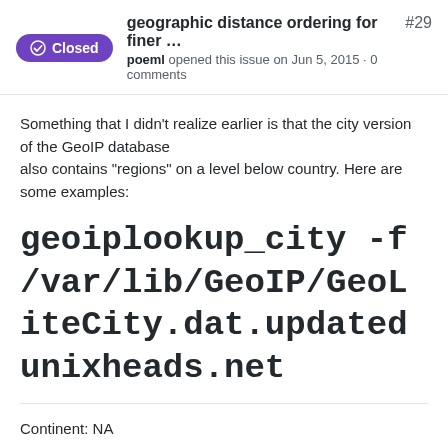Closed — geographic distance ordering for finer … #29
poeml opened this issue on Jun 5, 2015 · 0 comments
Something that I didn't realize earlier is that the city version of the GeoIP database
also contains "regions" on a level below country. Here are some examples:
geoiplookup_city -f /var/lib/GeoIP/GeoLiteCity.dat.updated unixheads.net
Continent: NA
Country: US
Region id: CA
Region: California
City: Redwood City
Latitude: 37.491402
Longitude: 122.210998